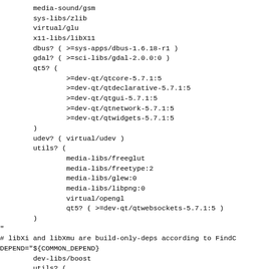media-sound/gsm
	sys-libs/zlib
	virtual/glu
	x11-libs/libX11
	dbus? ( >=sys-apps/dbus-1.6.18-r1 )
	gdal? ( >=sci-libs/gdal-2.0.0:0 )
	qt5? (
			>=dev-qt/qtcore-5.7.1:5
			>=dev-qt/qtdeclarative-5.7.1:5
			>=dev-qt/qtgui-5.7.1:5
			>=dev-qt/qtnetwork-5.7.1:5
			>=dev-qt/qtwidgets-5.7.1:5
	)
	udev? ( virtual/udev )
	utils? (
			media-libs/freeglut
			media-libs/freetype:2
			media-libs/glew:0
			media-libs/libpng:0
			virtual/opengl
			qt5? ( >=dev-qt/qtwebsockets-5.7.1:5 )
	)
"
# libXi and libXmu are build-only-deps according to FindC
DEPEND="${COMMON_DEPEND}
		dev-libs/boost
		utils? (
				x11-libs/libXi
				x11-libs/libXmu
		)
"